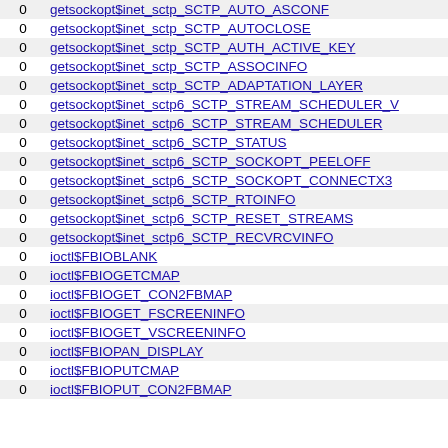|  |  |
| --- | --- |
| 0 | getsockopt$inet_sctp_SCTP_AUTO_ASCONF |
| 0 | getsockopt$inet_sctp_SCTP_AUTOCLOSE |
| 0 | getsockopt$inet_sctp_SCTP_AUTH_ACTIVE_KEY |
| 0 | getsockopt$inet_sctp_SCTP_ASSOCINFO |
| 0 | getsockopt$inet_sctp_SCTP_ADAPTATION_LAYER |
| 0 | getsockopt$inet_sctp6_SCTP_STREAM_SCHEDULER_V |
| 0 | getsockopt$inet_sctp6_SCTP_STREAM_SCHEDULER |
| 0 | getsockopt$inet_sctp6_SCTP_STATUS |
| 0 | getsockopt$inet_sctp6_SCTP_SOCKOPT_PEELOFF |
| 0 | getsockopt$inet_sctp6_SCTP_SOCKOPT_CONNECTX3 |
| 0 | getsockopt$inet_sctp6_SCTP_RTOINFO |
| 0 | getsockopt$inet_sctp6_SCTP_RESET_STREAMS |
| 0 | getsockopt$inet_sctp6_SCTP_RECVRCVINFO |
| 0 | ioctl$FBIOBLANK |
| 0 | ioctl$FBIOGETCMAP |
| 0 | ioctl$FBIOGET_CON2FBMAP |
| 0 | ioctl$FBIOGET_FSCREENINFO |
| 0 | ioctl$FBIOGET_VSCREENINFO |
| 0 | ioctl$FBIOPAN_DISPLAY |
| 0 | ioctl$FBIOPUTCMAP |
| 0 | ioctl$FBIOPUT_CON2FBMAP |